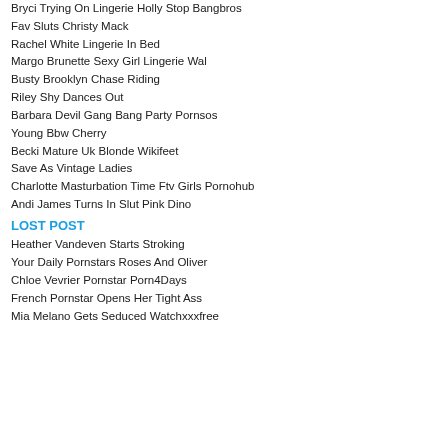Bryci Trying On Lingerie Holly Stop Bangbros
Fav Sluts Christy Mack
Rachel White Lingerie In Bed
Margo Brunette Sexy Girl Lingerie Wal
Busty Brooklyn Chase Riding
Riley Shy Dances Out
Barbara Devil Gang Bang Party Pornsos
Young Bbw Cherry
Becki Mature Uk Blonde Wikifeet
Save As Vintage Ladies
Charlotte Masturbation Time Ftv Girls Pornohub
Andi James Turns In Slut Pink Dino
LOST POST
Heather Vandeven Starts Stroking
Your Daily Pornstars Roses And Oliver
Chloe Vevrier Pornstar Porn4Days
French Pornstar Opens Her Tight Ass
Mia Melano Gets Seduced Watchxxxfree